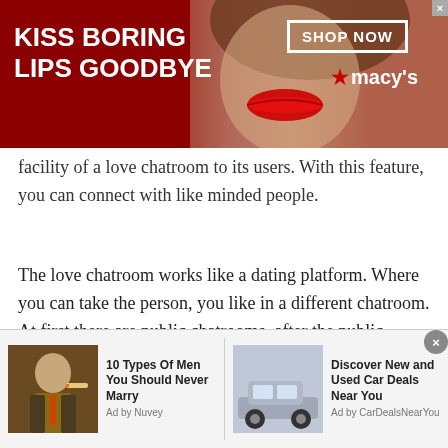[Figure (other): Advertisement banner for Macy's lipstick product with text 'KISS BORING LIPS GOODBYE', image of woman with red lips, 'SHOP NOW' button and Macy's logo]
facility of a love chatroom to its users. With this feature, you can connect with like minded people.
The love chatroom works like a dating platform. Where you can take the person, you like in a different chatroom. At first there are public chatrooms, after the public chatroom you can take your loved one to a separate love chatroom. The purpose of love chatrooms is to bring hearts together. Further, this chatroom is very much helpful to the people who are either introverted by
[Figure (other): Bottom advertisement bar with two sponsored items: '10 Types Of Men You Should Never Marry' (Ad by Nuvey) and 'Discover New and Used Car Deals Near You' (Ad by CarDealsNearYou)]